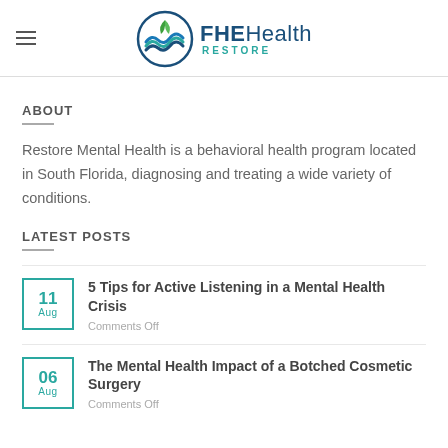[Figure (logo): FHE Health Restore logo with circular blue/teal/green wave icon and text 'FHEHealth RESTORE']
ABOUT
Restore Mental Health is a behavioral health program located in South Florida, diagnosing and treating a wide variety of conditions.
LATEST POSTS
11 Aug — 5 Tips for Active Listening in a Mental Health Crisis — Comments Off
06 Aug — The Mental Health Impact of a Botched Cosmetic Surgery — Comments Off